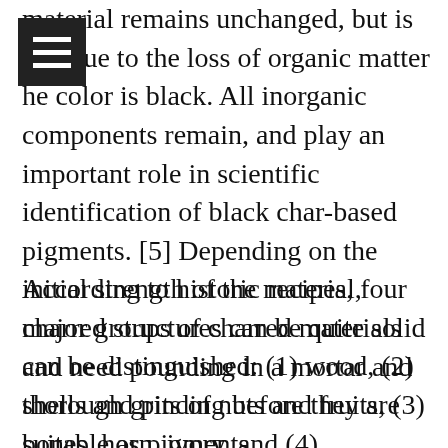material remains unchanged, but is weakened due to the loss of organic matter and the color is black. All inorganic components remain, and play an important role in scientific identification of black char-based pigments. [5] Depending on the initial strength of the material, charred structures can be quite solid and need pounding in a mortar and thorough grinding before they are suitable as pigments.
According to historic recipes, four major groups of charred materials can be distinguished: (1) wood, (2) shells and pits of nuts and fruits, (3) bones, horn, ivory, and (4)